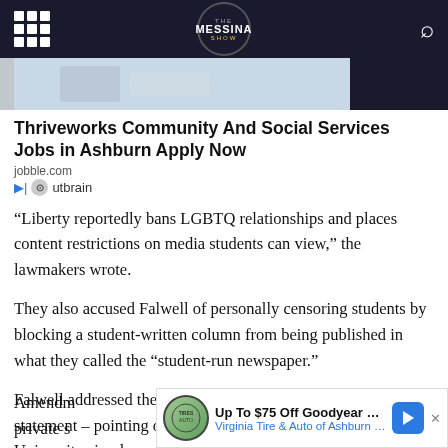The Messina Show
[Figure (photo): Partial image of a person near a computer or work setting]
Thriveworks Community And Social Services Jobs in Ashburn Apply Now
jobble.com
Outbrain sponsored content
“Liberty reportedly bans LGBTQ relationships and places content restrictions on media students can view,” the lawmakers wrote.
They also accused Falwell of personally censoring students by blocking a student-written column from being published in what they called the “student-run newspaper.”
Falwell addressed the scurrilous charges in a prepared statement – pointing out that “as a private university, Liberty University simply cannot violate the First Amendment of its students because the First Amendment does not regulate private s…
[Figure (screenshot): Advertisement banner: Up To $75 Off Goodyear Tires, Virginia Tire & Auto of Ashburn Fa.]